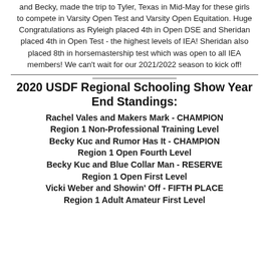and Becky, made the trip to Tyler, Texas in Mid-May for these girls to compete in Varsity Open Test and Varsity Open Equitation. Huge Congratulations as Ryleigh placed 4th in Open DSE and Sheridan placed 4th in Open Test - the highest levels of IEA! Sheridan also placed 8th in horsemastership test which was open to all IEA members! We can't wait for our 2021/2022 season to kick off!
2020 USDF Regional Schooling Show Year End Standings:
Rachel Vales and Makers Mark - CHAMPION Region 1 Non-Professional Training Level
Becky Kuc and Rumor Has It - CHAMPION Region 1 Open Fourth Level
Becky Kuc and Blue Collar Man - RESERVE Region 1 Open First Level
Vicki Weber and Showin' Off - FIFTH PLACE Region 1 Adult Amateur First Level